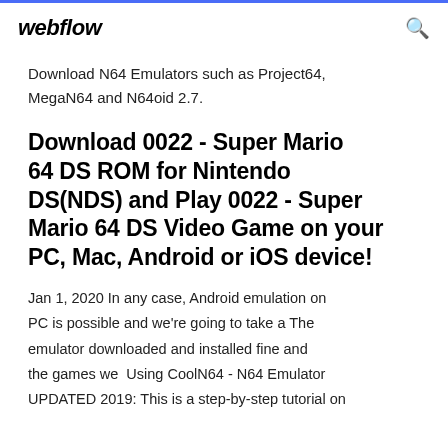webflow
Download N64 Emulators such as Project64, MegaN64 and N64oid 2.7.
Download 0022 - Super Mario 64 DS ROM for Nintendo DS(NDS) and Play 0022 - Super Mario 64 DS Video Game on your PC, Mac, Android or iOS device!
Jan 1, 2020 In any case, Android emulation on PC is possible and we're going to take a The emulator downloaded and installed fine and the games we  Using CoolN64 - N64 Emulator UPDATED 2019: This is a step-by-step tutorial on